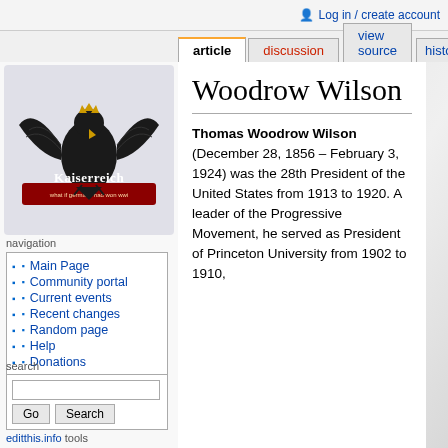Log in / create account
article | discussion | view source | histo
[Figure (logo): Kaiserreich wiki logo with eagle emblem and text 'what if germany had won wwi']
navigation
Main Page
Community portal
Current events
Recent changes
Random page
Help
Donations
search
editthis.info tools
Create a Wiki
Clear Page Cache
Report a Bug
Woodrow Wilson
Thomas Woodrow Wilson (December 28, 1856 – February 3, 1924) was the 28th President of the United States from 1913 to 1920. A leader of the Progressive Movement, he served as President of Princeton University from 1902 to 1910,